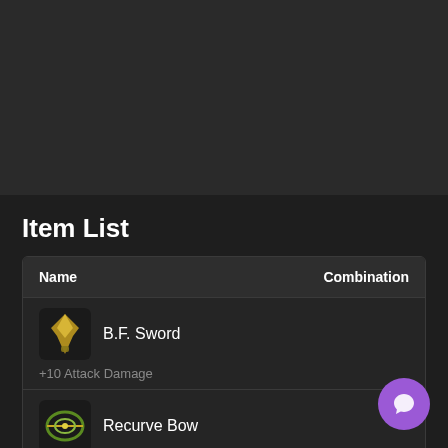Item List
| Name | Combination |
| --- | --- |
| B.F. Sword | +10 Attack Damage |  |
| Recurve Bow | +10 Attack Speed |  |
| Chain Vest | +30 Armor |  |